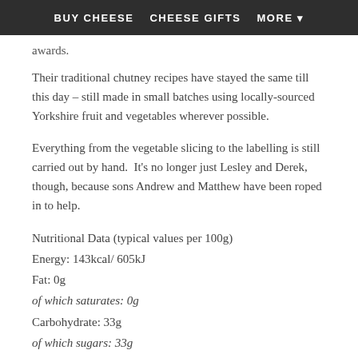BUY CHEESE   CHEESE GIFTS   MORE ▼
awards.
Their traditional chutney recipes have stayed the same till this day – still made in small batches using locally-sourced Yorkshire fruit and vegetables wherever possible.
Everything from the vegetable slicing to the labelling is still carried out by hand.  It's no longer just Lesley and Derek, though, because sons Andrew and Matthew have been roped in to help.
Nutritional Data (typical values per 100g)
Energy: 143kcal/ 605kJ
Fat: 0g
of which saturates: 0g
Carbohydrate: 33g
of which sugars: 33g
Protein: 0.7g
Salt: 0.03g